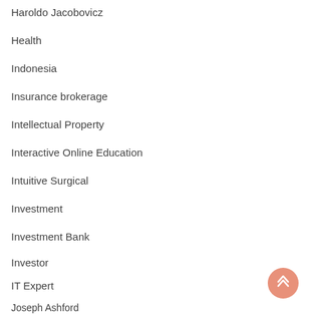Haroldo Jacobovicz
Health
Indonesia
Insurance brokerage
Intellectual Property
Interactive Online Education
Intuitive Surgical
Investment
Investment Bank
Investor
IT Expert
Joseph Ashford
Journalist